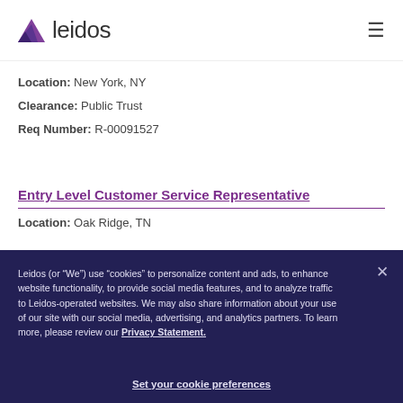[Figure (logo): Leidos logo with purple arrow/triangle icon and wordmark 'leidos' in dark gray, plus hamburger menu icon on the right]
Location: New York, NY
Clearance: Public Trust
Req Number: R-00091527
Entry Level Customer Service Representative
Location: Oak Ridge, TN
Leidos (or “We”) use “cookies” to personalize content and ads, to enhance website functionality, to provide social media features, and to analyze traffic to Leidos-operated websites. We may also share information about your use of our site with our social media, advertising, and analytics partners. To learn more, please review our Privacy Statement.
Set your cookie preferences